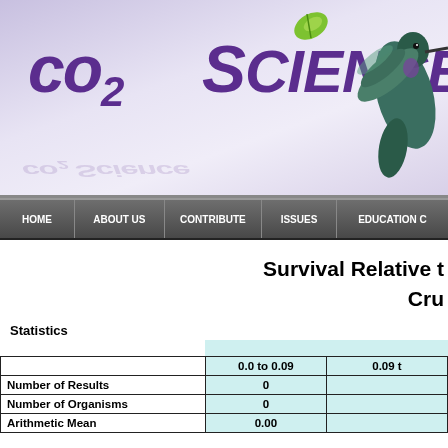[Figure (logo): CO2 Science logo with green leaf and hummingbird, purple text on light purple gradient background]
HOME | ABOUT US | CONTRIBUTE | ISSUES | EDUCATION C
Survival Relative t
Cru
Statistics
|  | 0.0 to 0.09 | 0.09 t |
| --- | --- | --- |
| Number of Results | 0 |  |
| Number of Organisms | 0 |  |
| Arithmetic Mean | 0.00 |  |